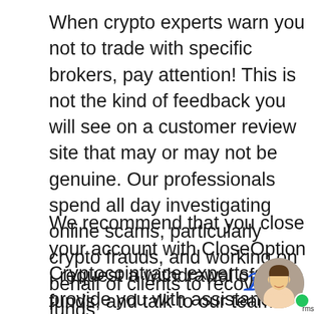When crypto experts warn you not to trade with specific brokers, pay attention! This is not the kind of feedback you will see on a customer review site that may or may not be genuine. Our professionals spend all day investigating online scams, particularly crypto frauds, and working on behalf of clients to recover funds.
We recommend that you close your account with CloseOption , request a withdrawal of your funds, and talk to our team if you have lost any money with them.
Cryptocointrace experts can provide you with assistance for your cryptocurrency claim. Our team of researchers knows wh... to look for when investigating a crypto scam
[Figure (photo): Chat widget in bottom right corner showing a smiling woman avatar with a green online indicator dot and partial brand text 'rms' visible, with a blue italic arrow pointing left]